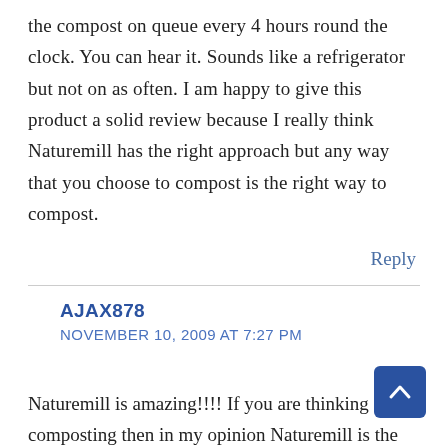the compost on queue every 4 hours round the clock. You can hear it. Sounds like a refrigerator but not on as often. I am happy to give this product a solid review because I really think Naturemill has the right approach but any way that you choose to compost is the right way to compost.
Reply
AJAX878
NOVEMBER 10, 2009 AT 7:27 PM
Naturemill is amazing!!!! If you are thinking about composting then in my opinion Naturemill is the best option. If you want something indoors, it's